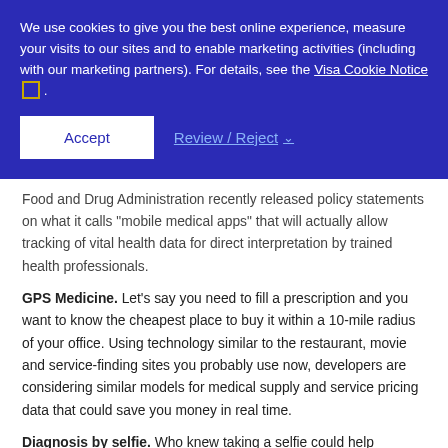We use cookies to give you the best online experience, measure your visits to our sites and to enable marketing activities (including with our marketing partners). For details, see the Visa Cookie Notice .
Accept | Review / Reject
Food and Drug Administration recently released policy statements on what it calls "mobile medical apps" that will actually allow tracking of vital health data for direct interpretation by trained health professionals.
GPS Medicine. Let's say you need to fill a prescription and you want to know the cheapest place to buy it within a 10-mile radius of your office. Using technology similar to the restaurant, movie and service-finding sites you probably use now, developers are considering similar models for medical supply and service pricing data that could save you money in real time.
Diagnosis by selfie. Who knew taking a selfie could help improve your health? This new technology allows patients to take a photo of a non-life-threatening injury or rash using